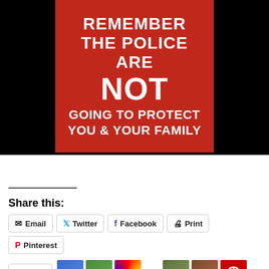[Figure (illustration): Red poster with white bold text reading: REMEMBER THE POLICE ARE NOT GOING TO PROTECT YOU & YOUR FAMILY]
Share this:
Email
Twitter
Facebook
Print
Pinterest
Like